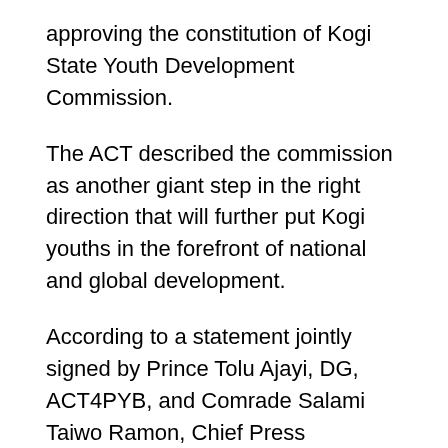approving the constitution of Kogi State Youth Development Commission.
The ACT described the commission as another giant step in the right direction that will further put Kogi youths in the forefront of national and global development.
According to a statement jointly signed by Prince Tolu Ajayi, DG, ACT4PYB, and Comrade Salami Taiwo Ramon, Chief Press Secretary to DG made available to newsmen on Wednesday hereby used the medium to celebrate with the state youths on the kind of leader they have as governor.
The statement stated: “There have been series of pioneering initiatives from the governor Bello since he assumed office in the past few years. Many of these initiatives are policies that are people oriented and centered on human development